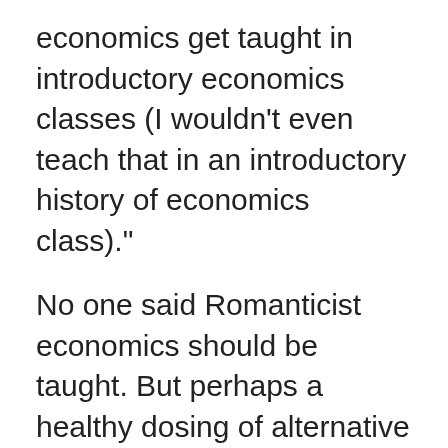economics get taught in introductory economics classes (I wouldn't even teach that in an introductory history of economics class)."
No one said Romanticist economics should be taught. But perhaps a healthy dosing of alternative viewpoints or counterpoints can be fit into the curriculum without overwhelming it? Again shades of grey, sir, instead of black and white, please. Or are you so presumptuous to suggest Ec10 curricula have no further room for improvement, and this isn't